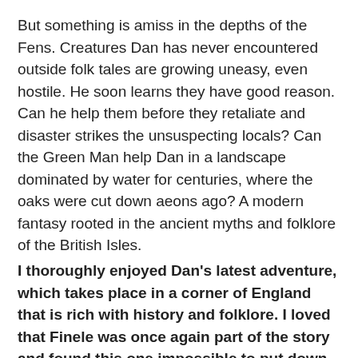But something is amiss in the depths of the Fens. Creatures Dan has never encountered outside folk tales are growing uneasy, even hostile. He soon learns they have good reason. Can he help them before they retaliate and disaster strikes the unsuspecting locals? Can the Green Man help Dan in a landscape dominated by water for centuries, where the oaks were cut down aeons ago? A modern fantasy rooted in the ancient myths and folklore of the British Isles.
I thoroughly enjoyed Dan's latest adventure, which takes place in a corner of England that is rich with history and folklore. I loved that Finele was once again part of the story and found this one impossible to put down. Review to follow.